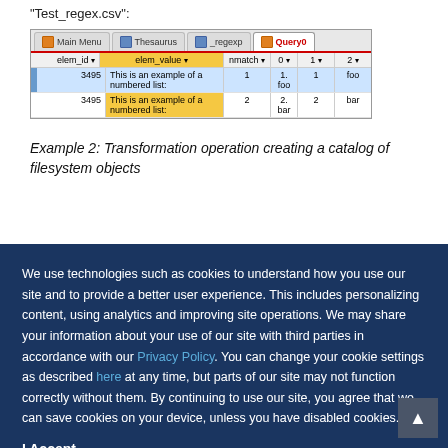"Test_regex.csv":
[Figure (screenshot): Database query result screenshot showing tabs: Main Menu, Thesaurus, _regexp, Query0. Table with columns elem_id, elem_value, nmatch, 0, 1, 2. Two rows: 3495 'This is an example of a numbered list:' with values 1 1. foo 1 foo and 2 2. bar 2 bar.]
Example 2: Transformation operation creating a catalog of filesystem objects
We use technologies such as cookies to understand how you use our site and to provide a better user experience. This includes personalizing content, using analytics and improving site operations. We may share your information about your use of our site with third parties in accordance with our Privacy Policy. You can change your cookie settings as described here at any time, but parts of our site may not function correctly without them. By continuing to use our site, you agree that we can save cookies on your device, unless you have disabled cookies.
I Accept